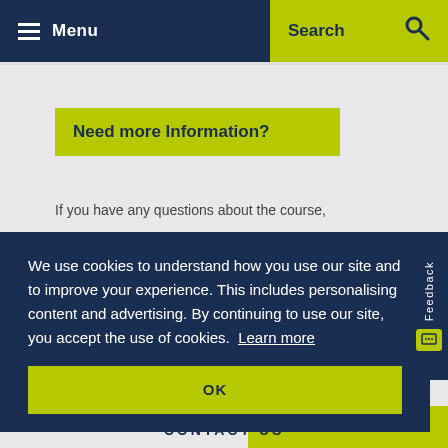Menu  Search
Need more Information?
If you have any questions about the course,
We use cookies to understand how you use our site and to improve your experience. This includes personalising content and advertising. By continuing to use our site, you accept the use of cookies. Learn more
OK
CONTACT US